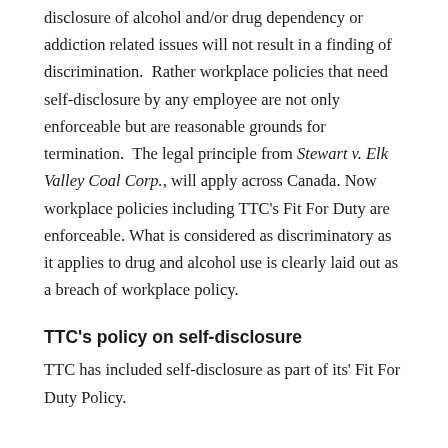disclosure of alcohol and/or drug dependency or addiction related issues will not result in a finding of discrimination.  Rather workplace policies that need self-disclosure by any employee are not only enforceable but are reasonable grounds for termination.  The legal principle from Stewart v. Elk Valley Coal Corp., will apply across Canada. Now workplace policies including TTC's Fit For Duty are enforceable. What is considered as discriminatory as it applies to drug and alcohol use is clearly laid out as a breach of workplace policy.
TTC's policy on self-disclosure
TTC has included self-disclosure as part of its' Fit For Duty Policy.